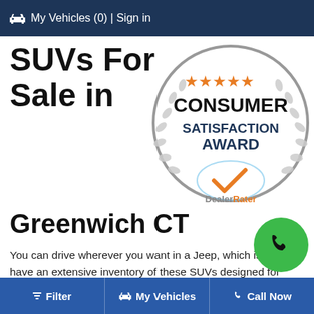🚗 My Vehicles (0) | Sign in
SUVs For Sale in
[Figure (logo): Consumer Satisfaction Award badge with 5 orange stars, laurel wreath, DealerRater logo with orange checkmark]
Greenwich CT
You can drive wherever you want in a Jeep, which is why we have an extensive inventory of these SUVs designed for road and off-road driving. You can find out more vehicle information about any Jeep in our Fairfield County CT dealership by scrolling up and clicking through on the model you like!
Filter | My Vehicles | Call Now